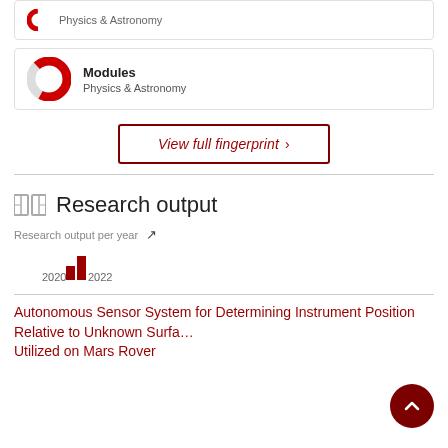[Figure (other): Partial card with donut icon and Physics & Astronomy label (top, cropped)]
[Figure (donut-chart): Modules card with red/grey donut icon, title Modules, subtitle Physics & Astronomy]
View full fingerprint >
Research output
Research output per year
[Figure (bar-chart): Research output per year]
Autonomous Sensor System for Determining Instrument Position Relative to Unknown Surface Utilized on Mars Rover